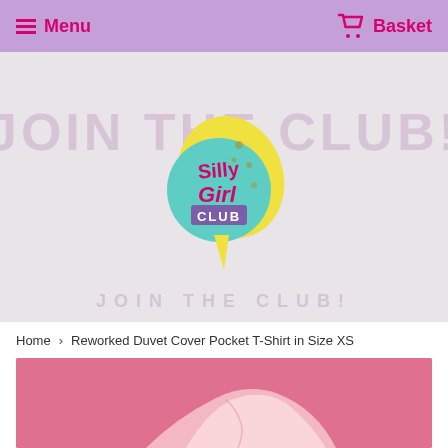Menu  Basket
[Figure (logo): Silly Girl Club logo — circular teal badge with pink and yellow script text and a yellow banana/lightning bolt shape]
Home  ›  Reworked Duvet Cover Pocket T-Shirt in Size XS
[Figure (photo): Pink fabric t-shirt on a pink background, showing the pocket detail area of the reworked duvet cover t-shirt]